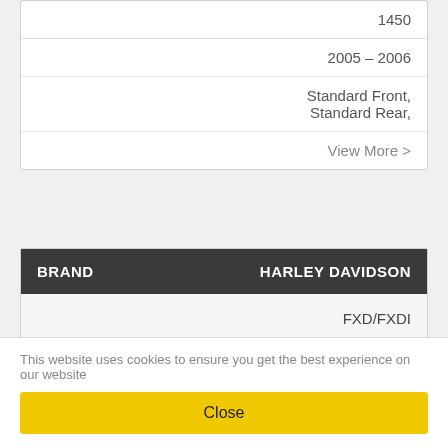|  |  |
| --- | --- |
|  | 1450 |
|  | 2005 - 2006 |
|  | Standard Front, Standard Rear, |
|  | View More > |
| BRAND | HARLEY DAVIDSON |
| --- | --- |
|  | FXD/FXDI |
|  | 1450 |
This website uses cookies to ensure you get the best experience on our website
Close